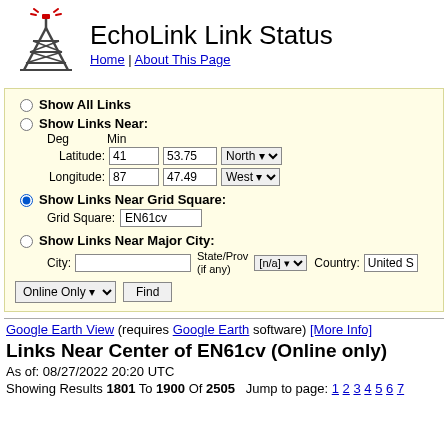EchoLink Link Status
Home | About This Page
Show All Links
Show Links Near:
Latitude: 41 deg 53.75 min North
Longitude: 87 deg 47.49 min West
Show Links Near Grid Square: EN61cv
Show Links Near Major City: City: State/Prov (if any): [n/a] Country: United S
Online Only   Find
Google Earth View (requires Google Earth software) [More Info]
Links Near Center of EN61cv (Online only)
As of: 08/27/2022 20:20 UTC
Showing Results 1801 To 1900 Of 2505   Jump to page: 1 2 3 4 5 6 7